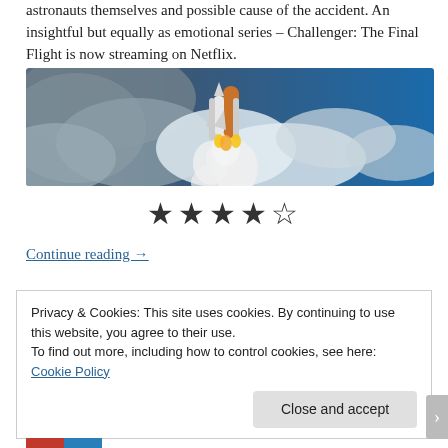astronauts themselves and possible cause of the accident. An insightful but equally as emotional series – Challenger: The Final Flight is now streaming on Netflix.
[Figure (photo): A space shuttle launching into a blue sky with white clouds and smoke billowing around it.]
★★★★☆
Continue reading →
Privacy & Cookies: This site uses cookies. By continuing to use this website, you agree to their use.
To find out more, including how to control cookies, see here: Cookie Policy
Close and accept